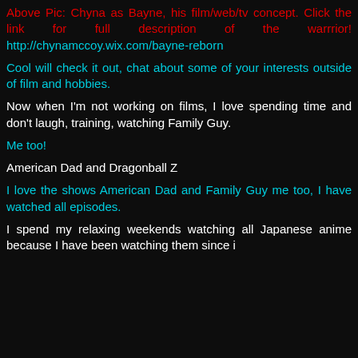Above Pic: Chyna as Bayne, his film/web/tv concept. Click the link for full description of the warrrior! http://chynamccoy.wix.com/bayne-reborn
Cool will check it out, chat about some of your interests outside of film and hobbies.
Now when I'm not working on films, I love spending time and don't laugh, training, watching Family Guy.
Me too!
American Dad and Dragonball Z
I love the shows American Dad and Family Guy me too, I have watched all episodes.
I spend my relaxing weekends watching all Japanese anime because I have been watching them since i